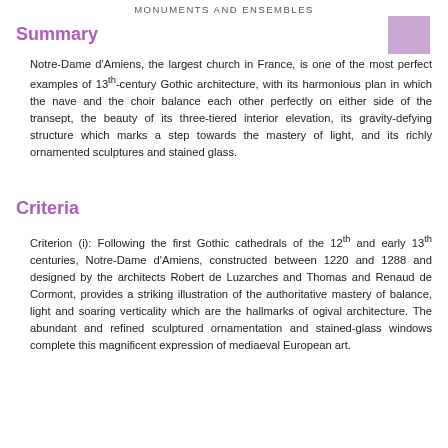MONUMENTS AND ENSEMBLES
Summary
Notre-Dame d'Amiens, the largest church in France, is one of the most perfect examples of 13th-century Gothic architecture, with its harmonious plan in which the nave and the choir balance each other perfectly on either side of the transept, the beauty of its three-tiered interior elevation, its gravity-defying structure which marks a step towards the mastery of light, and its richly ornamented sculptures and stained glass.
Criteria
Criterion (i): Following the first Gothic cathedrals of the 12th and early 13th centuries, Notre-Dame d'Amiens, constructed between 1220 and 1288 and designed by the architects Robert de Luzarches and Thomas and Renaud de Cormont, provides a striking illustration of the authoritative mastery of balance, light and soaring verticality which are the hallmarks of ogival architecture. The abundant and refined sculptured ornamentation and stained-glass windows complete this magnificent expression of mediaeval European art.